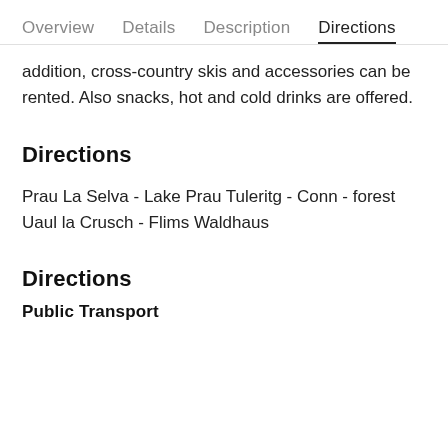Overview   Details   Description   Directions
addition, cross-country skis and accessories can be rented. Also snacks, hot and cold drinks are offered.
Directions
Prau La Selva - Lake Prau Tuleritg - Conn - forest Uaul la Crusch - Flims Waldhaus
Directions
Public Transport